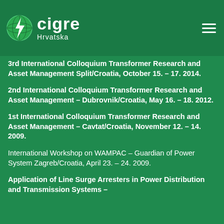CIGRE Hrvatska
3rd International Colloquium Transformer Research and Asset Management Split/Croatia, October 15. – 17. 2014.
2nd International Colloquium Transformer Research and Asset Management – Dubrovnik/Croatia, May 16. – 18. 2012.
1st International Colloquium Transformer Research and Asset Management – Cavtat/Croatia, November 12. – 14. 2009.
International Workshop on WAMPAC – Guardian of Power System Zagreb/Croatia, April 23. – 24. 2009.
Application of Line Surge Arresters in Power Distribution and Transmission Systems –